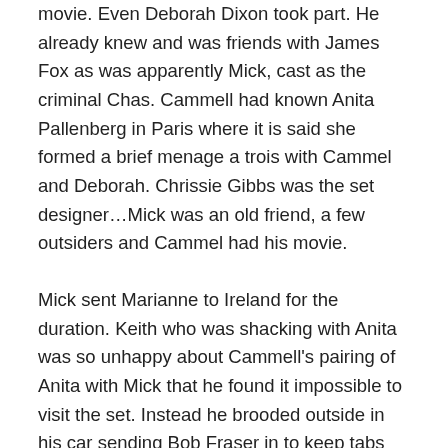movie. Even Deborah Dixon took part. He already knew and was friends with James Fox as was apparently Mick, cast as the criminal Chas. Cammell had known Anita Pallenberg in Paris where it is said she formed a brief menage a trois with Cammel and Deborah. Chrissie Gibbs was the set designer…Mick was an old friend, a few outsiders and Cammel had his movie.
Mick sent Marianne to Ireland for the duration. Keith who was shacking with Anita was so unhappy about Cammell's pairing of Anita with Mick that he found it impossible to visit the set. Instead he brooded outside in his car sending Bob Fraser in to keep tabs until Cammell banned him from the set.
I can't be sure that Cammell understood the Cockney meaning of Walker but he so admired the character that